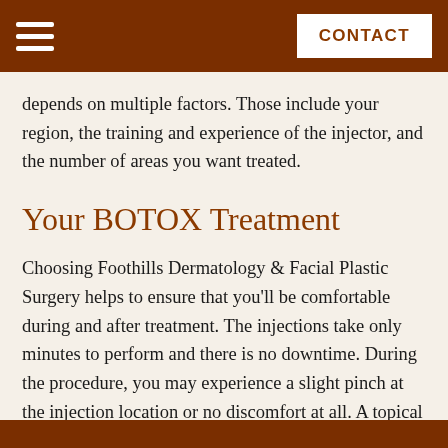CONTACT
depends on multiple factors. Those include your region, the training and experience of the injector, and the number of areas you want treated.
Your BOTOX Treatment
Choosing Foothills Dermatology & Facial Plastic Surgery helps to ensure that you’ll be comfortable during and after treatment. The injections take only minutes to perform and there is no downtime. During the procedure, you may experience a slight pinch at the injection location or no discomfort at all. A topical anesthetic is available to minimize discomfort. You can return to daily activities right away.